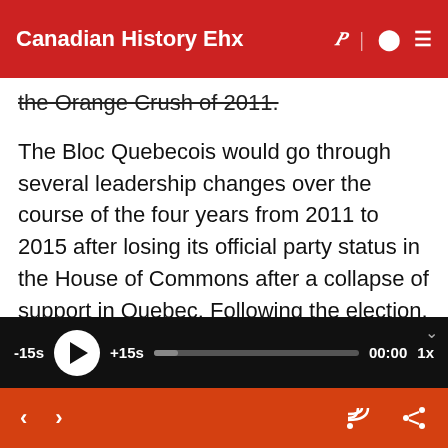Canadian History Ehx
the Orange Crush of 2011.
The Bloc Quebecois would go through several leadership changes over the course of the four years from 2011 to 2015 after losing its official party status in the House of Commons after a collapse of support in Quebec. Following the election, Gilles Duceppe would resign as leader of the party. Duceppe was succeeded by Daniel